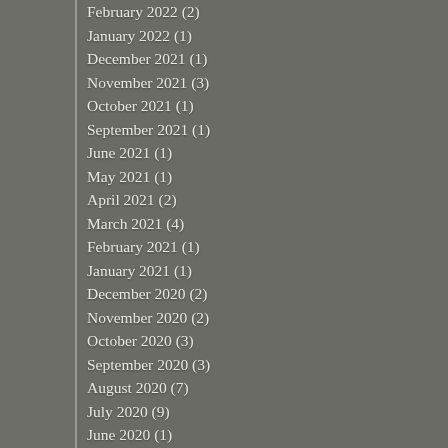February 2022 (2)
January 2022 (1)
December 2021 (1)
November 2021 (3)
October 2021 (1)
September 2021 (1)
June 2021 (1)
May 2021 (1)
April 2021 (2)
March 2021 (4)
February 2021 (1)
January 2021 (1)
December 2020 (2)
November 2020 (2)
October 2020 (3)
September 2020 (3)
August 2020 (7)
July 2020 (9)
June 2020 (1)